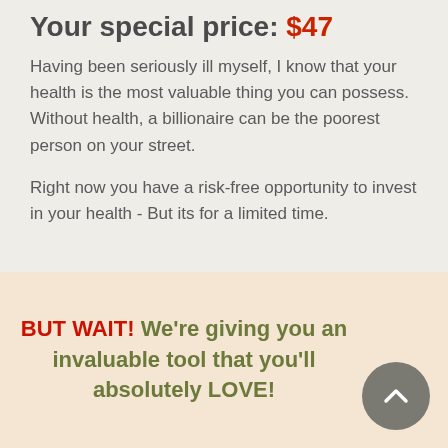Your special price: $47
Having been seriously ill myself, I know that your health is the most valuable thing you can possess. Without health, a billionaire can be the poorest person on your street.
Right now you have a risk-free opportunity to invest in your health - But its for a limited time.
BUT WAIT! We're giving you an invaluable tool that you'll absolutely LOVE!